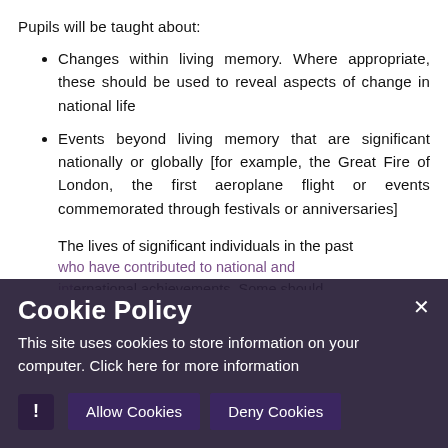Pupils will be taught about:
Changes within living memory. Where appropriate, these should be used to reveal aspects of change in national life
Events beyond living memory that are significant nationally or globally [for example, the Great Fire of London, the first aeroplane flight or events commemorated through festivals or anniversaries]
The lives of significant individuals in the past who have contributed to national and international achievements. Some should be used to compare aspects of life in different periods [for example, Elizabeth I and Queen Victoria, Christopher Columbus and Neil Armstrong]
[Figure (screenshot): Cookie policy popup overlay with dark purple/charcoal background. Title 'Cookie Policy' in large white bold text. Body text: 'This site uses cookies to store information on your computer. Click here for more information'. Buttons: 'Allow Cookies' and 'Deny Cookies' in dark purple. Close X button top right. Exclamation mark icon bottom left.]